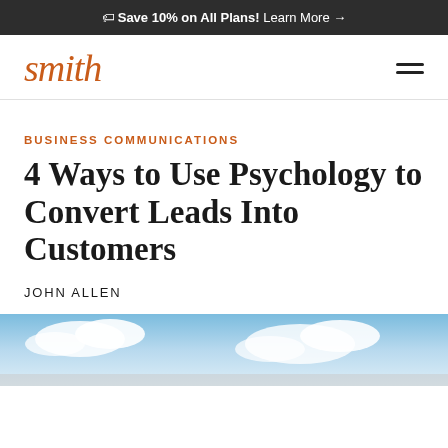🏷 Save 10% on All Plans! Learn More →
[Figure (logo): Smith logo in italic script, orange color]
BUSINESS COMMUNICATIONS
4 Ways to Use Psychology to Convert Leads Into Customers
JOHN ALLEN
[Figure (photo): Partial hero image showing sky with clouds at bottom of page]